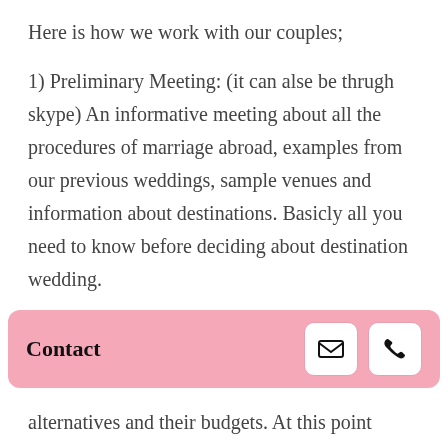Here is how we work with our couples;
1) Preliminary Meeting: (it can alse be thrugh skype) An informative meeting about all the procedures of marriage abroad, examples from our previous weddings, sample venues and information about destinations. Basicly all you need to know before deciding about destination wedding.
2) Presentation and Budget: If our couples are firm with their decision about a
Contact
alternatives and their budgets. At this point